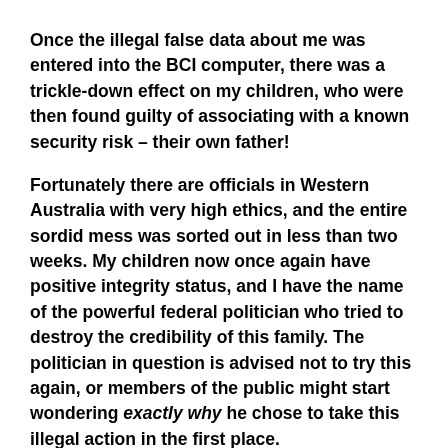Once the illegal false data about me was entered into the BCI computer, there was a trickle-down effect on my children, who were then found guilty of associating with a known security risk – their own father!
Fortunately there are officials in Western Australia with very high ethics, and the entire sordid mess was sorted out in less than two weeks. My children now once again have positive integrity status, and I have the name of the powerful federal politician who tried to destroy the credibility of this family. The politician in question is advised not to try this again, or members of the public might start wondering exactly why he chose to take this illegal action in the first place.